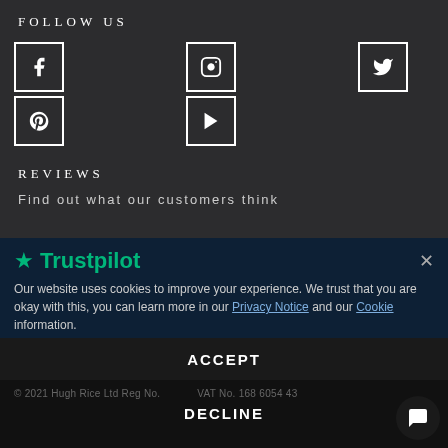FOLLOW US
[Figure (illustration): Social media icon grid: Facebook, Instagram, Twitter (top row); Pinterest, YouTube (bottom row). Each icon in a white-bordered square box on dark background.]
REVIEWS
Find out what our customers think
[Figure (screenshot): Trustpilot cookie consent overlay with green star logo, cookie notice text with Privacy Notice and Cookie links, star rating display, TrustScore 4.7 | 3,580 reviews, ACCEPT button, DECLINE button, and chat bubble icon.]
© 2021 Hugh Rice Ltd Reg No. ... VAT No. 168 6054 43